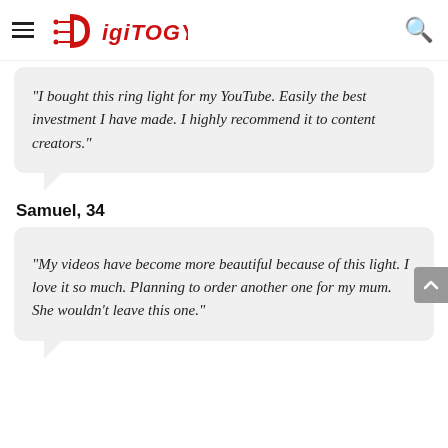Digitogy
“I bought this ring light for my YouTube. Easily the best investment I have made. I highly recommend it to content creators.”
Samuel, 34
“My videos have become more beautiful because of this light. I love it so much. Planning to order another one for my mum. She wouldn’t leave this one.”